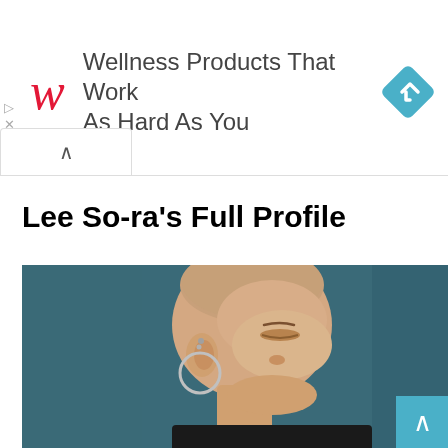[Figure (screenshot): Walgreens advertisement banner with red stylized 'W' logo, text 'Wellness Products That Work As Hard As You', and a blue diamond-shaped navigation icon on the right. Below the ad is a collapse chevron button. Ad control icons (play and close) appear on the left side.]
Lee So-ra's Full Profile
[Figure (photo): Close-up photograph of a person with a shaved head, wearing hoop earrings and small stud earrings, eyes closed, against a dark teal/blue-grey background. The person is wearing a black top.]